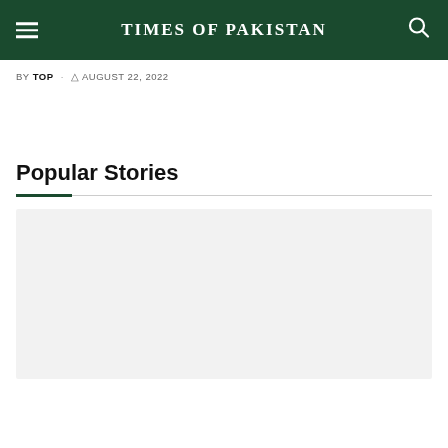TIMES OF PAKISTAN
BY TOP · AUGUST 22, 2022
Popular Stories
[Figure (other): Gray placeholder image card for a popular story]